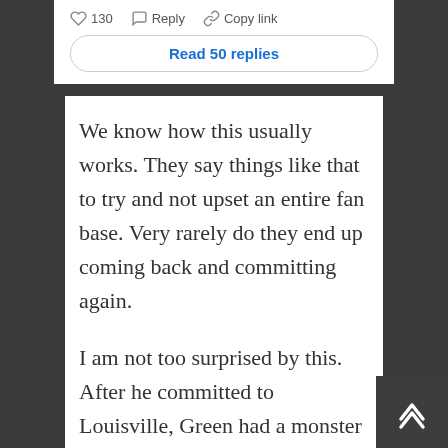130   Reply   Copy link
Read 50 replies
We know how this usually works. They say things like that to try and not upset an entire fan base. Very rarely do they end up coming back and committing again.
I am not too surprised by this. After he committed to Louisville, Green had a monster senior season for Westmoor High School in Oklahoma City, Oklahoma. The national recruiting